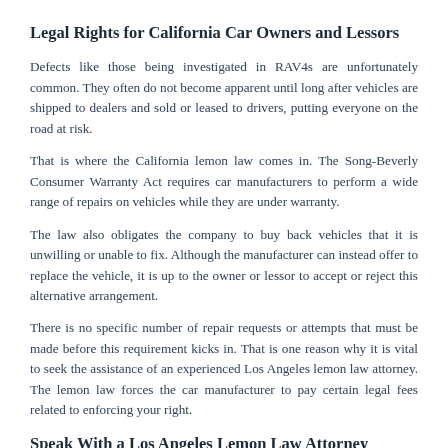Legal Rights for California Car Owners and Lessors
Defects like those being investigated in RAV4s are unfortunately common. They often do not become apparent until long after vehicles are shipped to dealers and sold or leased to drivers, putting everyone on the road at risk.
That is where the California lemon law comes in. The Song-Beverly Consumer Warranty Act requires car manufacturers to perform a wide range of repairs on vehicles while they are under warranty.
The law also obligates the company to buy back vehicles that it is unwilling or unable to fix. Although the manufacturer can instead offer to replace the vehicle, it is up to the owner or lessor to accept or reject this alternative arrangement.
There is no specific number of repair requests or attempts that must be made before this requirement kicks in. That is one reason why it is vital to seek the assistance of an experienced Los Angeles lemon law attorney. The lemon law forces the car manufacturer to pay certain legal fees related to enforcing your right.
Speak With a Los Angeles Lemon Law Attorney